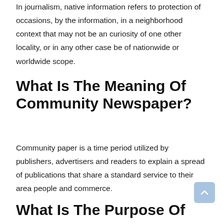In journalism, native information refers to protection of occasions, by the information, in a neighborhood context that may not be an curiosity of one other locality, or in any other case be of nationwide or worldwide scope.
What Is The Meaning Of Community Newspaper?
Community paper is a time period utilized by publishers, advertisers and readers to explain a spread of publications that share a standard service to their area people and commerce.
What Is The Purpose Of